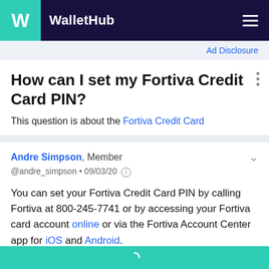WalletHub
Ad Disclosure
How can I set my Fortiva Credit Card PIN?
This question is about the Fortiva Credit Card
Andre Simpson, Member @andre_simpson • 09/03/20
You can set your Fortiva Credit Card PIN by calling Fortiva at 800-245-7741 or by accessing your Fortiva card account online or via the Fortiva Account Center app for iOS and Android.